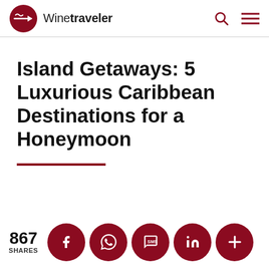Winetraveler
Island Getaways: 5 Luxurious Caribbean Destinations for a Honeymoon
867 SHARES